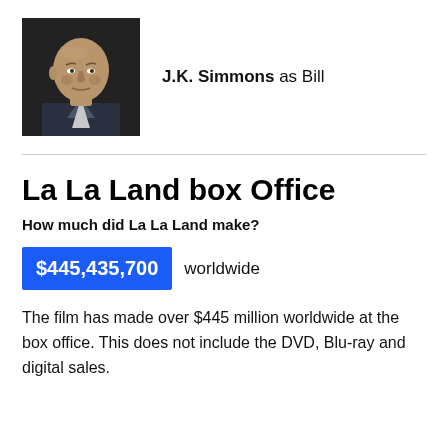[Figure (photo): Headshot photo of J.K. Simmons, an older bald man in dark clothing against a dark background]
J.K. Simmons as Bill
La La Land box Office
How much did La La Land make?
$445,435,700 worldwide
The film has made over $445 million worldwide at the box office. This does not include the DVD, Blu-ray and digital sales.